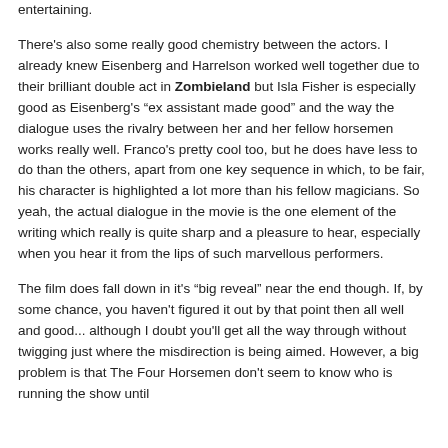entertaining.
There’s also some really good chemistry between the actors. I already knew Eisenberg and Harrelson worked well together due to their brilliant double act in Zombieland but Isla Fisher is especially good as Eisenberg’s “ex assistant made good” and the way the dialogue uses the rivalry between her and her fellow horsemen works really well. Franco’s pretty cool too, but he does have less to do than the others, apart from one key sequence in which, to be fair, his character is highlighted a lot more than his fellow magicians. So yeah, the actual dialogue in the movie is the one element of the writing which really is quite sharp and a pleasure to hear, especially when you hear it from the lips of such marvellous performers.
The film does fall down in it’s “big reveal” near the end though. If, by some chance, you haven’t figured it out by that point then all well and good... although I doubt you’ll get all the way through without twigging just where the misdirection is being aimed. However, a big problem is that The Four Horsemen don’t seem to know who is running the show until